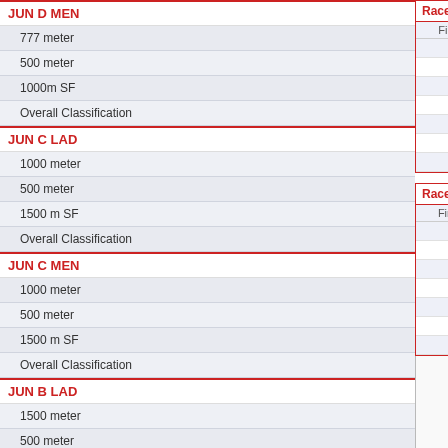JUN D MEN
777 meter
500 meter
1000m SF
Overall Classification
JUN C LAD
1000 meter
500 meter
1500 m SF
Overall Classification
JUN C MEN
1000 meter
500 meter
1500 m SF
Overall Classification
JUN B LAD
1500 meter
500 meter
1000 meter
1500 m SF
Overall Classification
JUN B MEN
1500 meter
| Finish | StartPos. | Nr. | Name |
| --- | --- | --- | --- |
| 1. | 1 | 266 | Je... |
| 2. | 2 | 254 | Ja... |
| 3. | 5 | 120 | Da... |
| 4. | 3 | 203 | Ch... |
| 5. | 6 | 122 | Ma... |
| 6. | 4 | 159 | Me... |
| 7. | 7 | 281 | No... |
| Finish | StartPos. | Nr. | Name |
| --- | --- | --- | --- |
| 1. | 3 | 93 | NO... |
| 2. | 2 | 94 | JA... |
| 3. | 6 | 237 | Da... |
| 4. | 1 | 158 | St... |
| 5. | 5 | 204 | Ju... |
| 6. | 4 | 282 | Ar... |
| 7. | 7 | 300 | Al... |